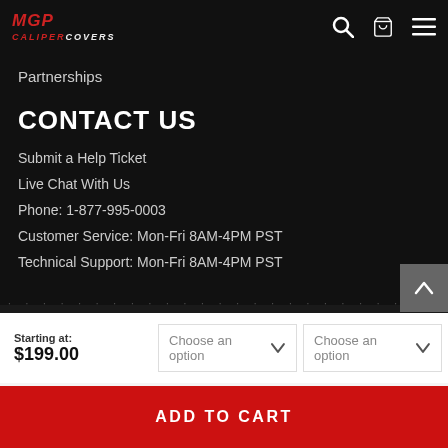MGP Caliper Covers
Partnerships
CONTACT US
Submit a Help Ticket
Live Chat With Us
Phone: 1-877-995-0003
Customer Service: Mon-Fri 8AM-4PM PST
Technical Support: Mon-Fri 8AM-4PM PST
Starting at: $199.00
Choose an option
Choose an option
ADD TO CART